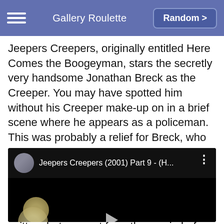Gallery Roulette | Random >
Jeepers Creepers, originally entitled Here Comes the Boogeyman, stars the secretly very handsome Jonathan Breck as the Creeper. You may have spotted him without his Creeper make-up on in a brief scene where he appears as a policeman. This was probably a relief for Breck, who was unable to see when he wore the contact lenses that formed a vital part of his villainous costume! Though the Creeper is the main attraction, he never speaks a single line of dialogue - one was written, but was cut from the movie before release.
[Figure (screenshot): Embedded YouTube-style video player showing 'Jeepers Creepers (2001) Part 9 - (H...' with a dark thumbnail, circular avatar icon, and three-dot menu icon.]